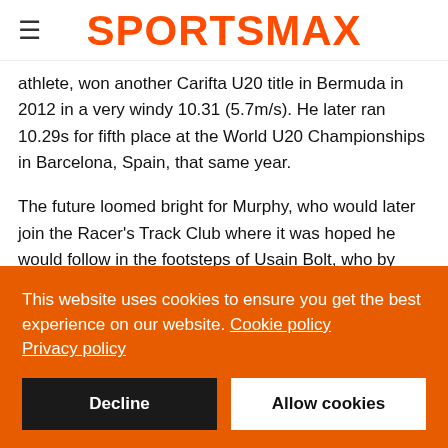SPORTSMAX
athlete, won another Carifta U20 title in Bermuda in 2012 in a very windy 10.31 (5.7m/s). He later ran 10.29s for fifth place at the World U20 Championships in Barcelona, Spain, that same year.
The future loomed bright for Murphy, who would later join the Racer's Track Club where it was hoped he would follow in the footsteps of Usain Bolt, who by then had won his sixth Olympic gold medal. However, in the years that followed, through injury and other related issues, Murphy failed to live up to
This website uses cookies to ensure you get the best experience on our website. Cookie policy Privacy policy
Decline
Allow cookies